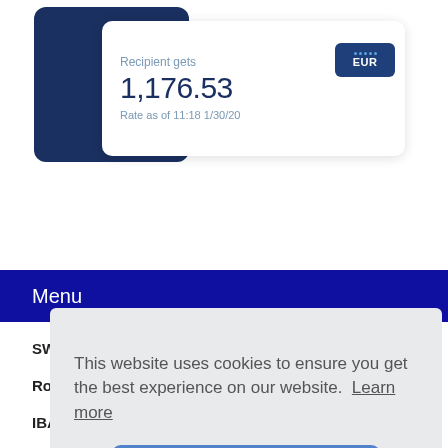[Figure (screenshot): Screenshot of a currency conversion app showing 'Recipient gets 1,176.53 EUR' with rate as of 11:18 1/30/20 on a white card overlaid on a dark blue background.]
Menu
SWIFT Code
Routing Number
IBAN
BS
Gu
Br
NU
BLZ
This website uses cookies to ensure you get the best experience on our website. Learn more
Got it!